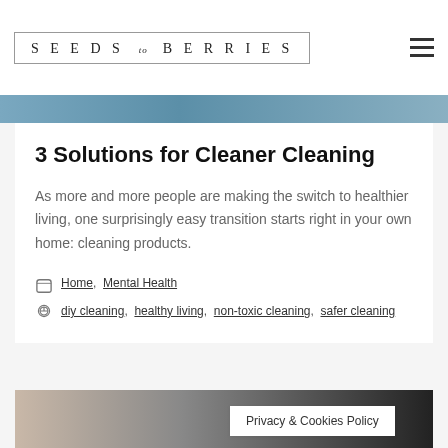SEEDS to BERRIES
[Figure (photo): Partial top image strip with blue tones, appears to be a cropped header photo]
3 Solutions for Cleaner Cleaning
As more and more people are making the switch to healthier living, one surprisingly easy transition starts right in your own home: cleaning products.
Home, Mental Health
diy cleaning, healthy living, non-toxic cleaning, safer cleaning
[Figure (photo): Partial bottom image, appears to show hands and a bottle, dark background]
Privacy & Cookies Policy